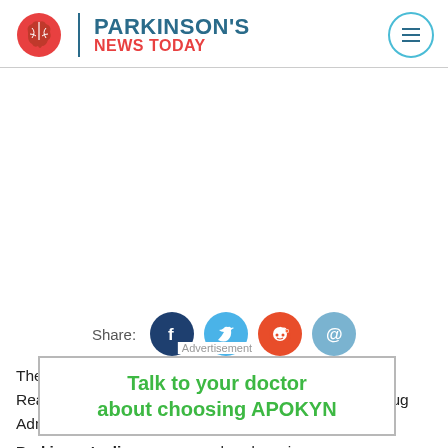PARKINSON'S NEWS TODAY
[Figure (infographic): Social share icons for Facebook, Twitter, Reddit, and Email with Share label]
The Michael J. Fox Foundation (MJFF) has received Reagan... Drug Administration, in recognition of its role in Parkinson's disease research...
[Figure (infographic): Advertisement overlay: Talk to your doctor about choosing APOKYN]